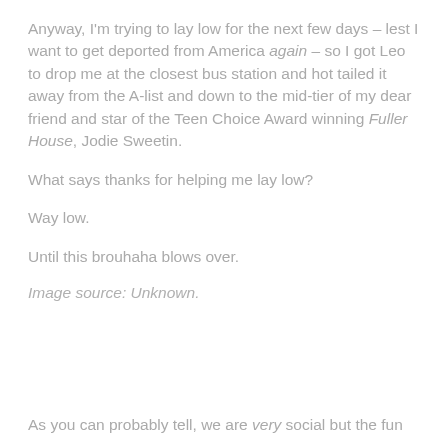Anyway, I'm trying to lay low for the next few days – lest I want to get deported from America again – so I got Leo to drop me at the closest bus station and hot tailed it away from the A-list and down to the mid-tier of my dear friend and star of the Teen Choice Award winning Fuller House, Jodie Sweetin.
What says thanks for helping me lay low?
Way low.
Until this brouhaha blows over.
Image source: Unknown.
As you can probably tell, we are very social but the fun